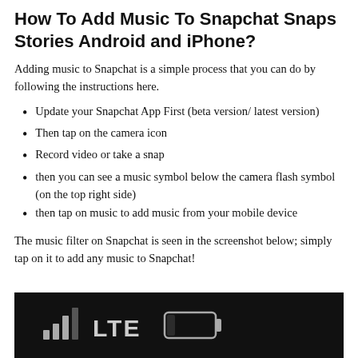How To Add Music To Snapchat Snaps Stories Android and iPhone?
Adding music to Snapchat is a simple process that you can do by following the instructions here.
Update your Snapchat App First (beta version/ latest version)
Then tap on the camera icon
Record video or take a snap
then you can see a music symbol below the camera flash symbol (on the top right side)
then tap on music to add music from your mobile device
The music filter on Snapchat is seen in the screenshot below; simply tap on it to add any music to Snapchat!
[Figure (screenshot): Screenshot of a phone status bar on black background showing signal bars, LTE text, and battery icon]